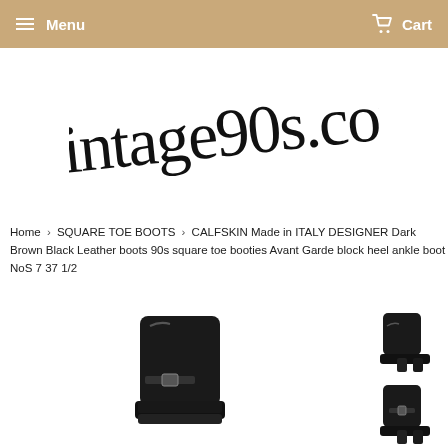Menu  Cart
[Figure (logo): Vintage90s.com cursive script logo in black on white background]
Home › SQUARE TOE BOOTS › CALFSKIN Made in ITALY DESIGNER Dark Brown Black Leather boots 90s square toe booties Avant Garde block heel ankle boot NoS 7 37 1/2
[Figure (photo): Black leather square toe ankle boots with block heel and buckle detail, shown from front/side angle. Two smaller thumbnail views on right side showing the boots from different angles.]